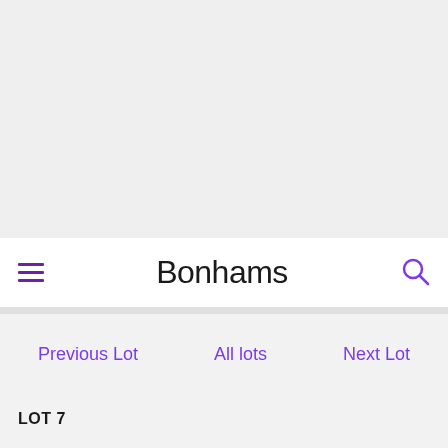[Figure (photo): Image area placeholder for auction lot photograph]
Bonhams
Previous Lot    All lots    Next Lot
LOT 7